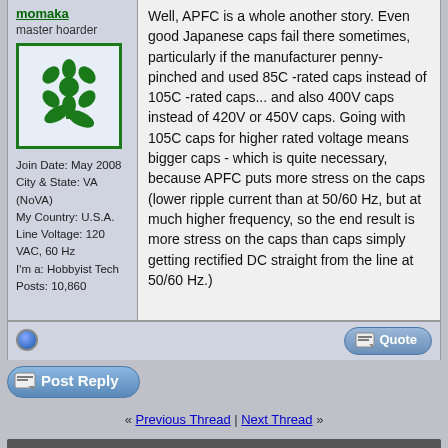momaka
master hoarder
[Figure (illustration): Green flower/plant icon in a square border]
Join Date: May 2008
City & State: VA (NoVA)
My Country: U.S.A.
Line Voltage: 120 VAC, 60 Hz
I'm a: Hobbyist Tech
Posts: 10,860
Well, APFC is a whole another story. Even good Japanese caps fail there sometimes, particularly if the manufacturer penny-pinched and used 85C -rated caps instead of 105C -rated caps... and also 400V caps instead of 420V or 450V caps. Going with 105C caps for higher rated voltage means bigger caps - which is quite necessary, because APFC puts more stress on the caps (lower ripple current than at 50/60 Hz, but at much higher frequency, so the end result is more stress on the caps than caps simply getting rectified DC straight from the line at 50/60 Hz.)
Post Reply
« Previous Thread | Next Thread »